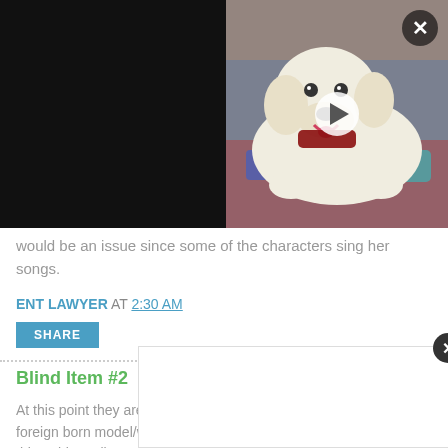[Figure (photo): Video thumbnail showing a white fluffy dog (Golden Retriever) lying on a colorful blanket wearing a red bandana, with a play button overlay. Black bars on left and right sides. Close (X) button in top right corner.]
would be an issue since some of the characters sing her songs.
ENT LAWYER AT 2:30 AM
SHARE
Blind Item #2
At this point they are leading completely separate lives. While this foreign born model/wannabe actress travels the globe doing her thing, this A+ list mostly movie actor is traveling the globe doing his thing with various men.
ENT LA...
SHAR...